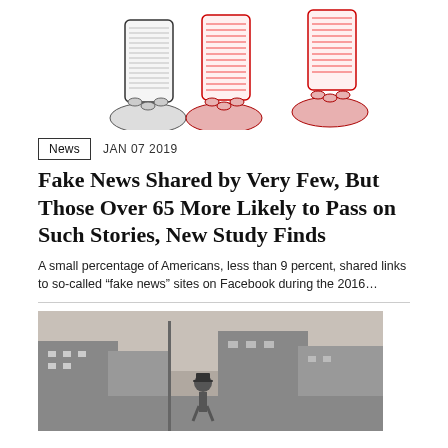[Figure (illustration): Illustration of hands holding smartphones, shown in black-and-white and red ink engraving style, three phones side by side]
News   JAN 07 2019
Fake News Shared by Very Few, But Those Over 65 More Likely to Pass on Such Stories, New Study Finds
A small percentage of Americans, less than 9 percent, shared links to so-called “fake news” sites on Facebook during the 2016…
[Figure (photo): Black and white historical photograph of a street scene with a person in a top hat]